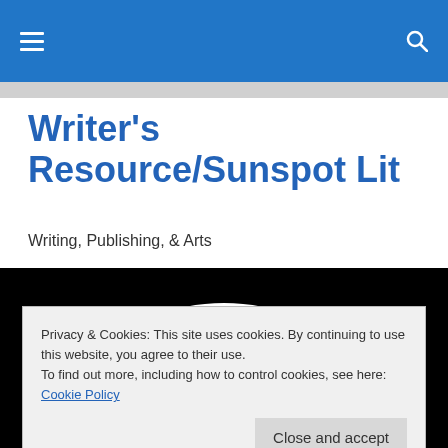Writer's Resource/Sunspot Lit — navigation bar with hamburger menu and search icon
Writer's Resource/Sunspot Lit
Writing, Publishing, & Arts
[Figure (photo): Close-up photograph of a sunspot on the sun's surface, showing an orange solar disk with a dark sunspot, framed by a white ring and black background.]
Privacy & Cookies: This site uses cookies. By continuing to use this website, you agree to their use.
To find out more, including how to control cookies, see here: Cookie Policy
Close and accept